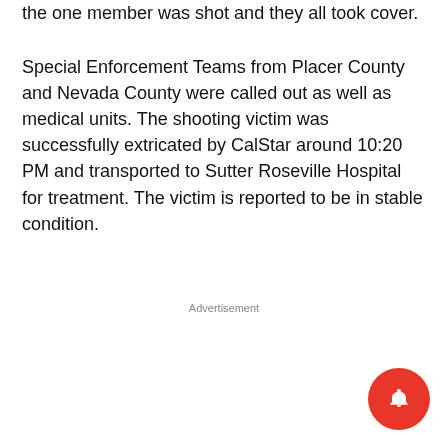the one member was shot and they all took cover.
Special Enforcement Teams from Placer County and Nevada County were called out as well as medical units. The shooting victim was successfully extricated by CalStar around 10:20 PM and transported to Sutter Roseville Hospital for treatment. The victim is reported to be in stable condition.
Advertisement